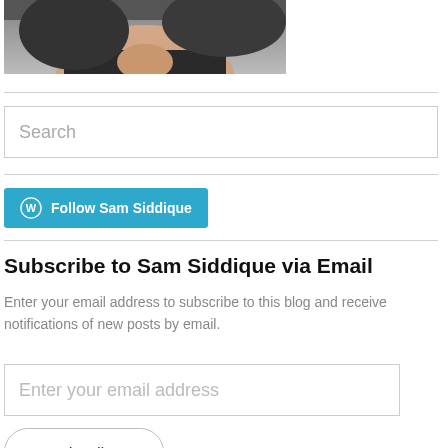[Figure (photo): Cropped photo showing lower portion of a person's face with dark hair and dark clothing]
Search
[Figure (other): Follow Sam Siddique button with WordPress logo]
Subscribe to Sam Siddique via Email
Enter your email address to subscribe to this blog and receive notifications of new posts by email.
Enter your email address
Subscribe